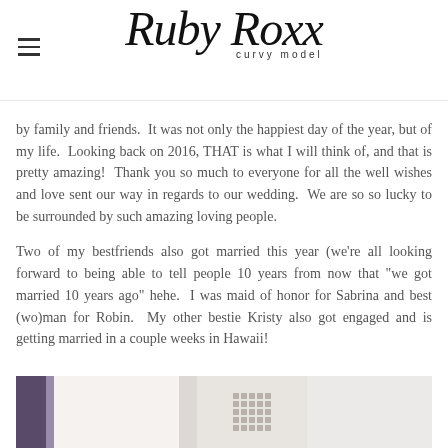Ruby Roxx curvy model
by family and friends.  It was not only the happiest day of the year, but of my life.  Looking back on 2016, THAT is what I will think of, and that is pretty amazing!  Thank you so much to everyone for all the well wishes and love sent our way in regards to our wedding.  We are so so lucky to be surrounded by such amazing loving people.
Two of my bestfriends also got married this year (we're all looking forward to being able to tell people 10 years from now that "we got married 10 years ago" hehe.  I was maid of honor for Sabrina and best (wo)man for Robin.  My other bestie Kristy also got engaged and is getting married in a couple weeks in Hawaii!
[Figure (photo): Partial view of a photo showing what appears to be a wedding or formal event scene with vertical stripes of purple/plum color and light tones, with a grid-like pattern in the center portion.]